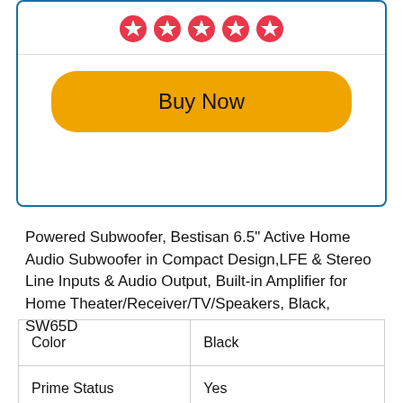[Figure (other): Five pink/red star rating icons in a row inside a blue-bordered card, followed by a gold 'Buy Now' button]
Powered Subwoofer, Bestisan 6.5" Active Home Audio Subwoofer in Compact Design,LFE & Stereo Line Inputs & Audio Output, Built-in Amplifier for Home Theater/Receiver/TV/Speakers, Black, SW65D
| Color | Black |
| Prime Status | Yes |
| Warranty | 1 year |
| Brand | BESTISAN |